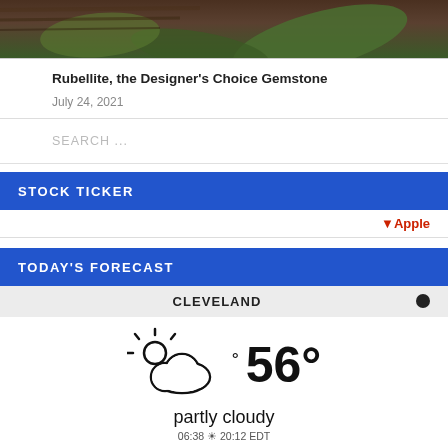[Figure (photo): Partial view of a nature/plant photo, cropped at top of page]
Rubellite, the Designer's Choice Gemstone
July 24, 2021
SEARCH ...
STOCK TICKER
↓ Apple
TODAY'S FORECAST
CLEVELAND
[Figure (illustration): Partly cloudy weather icon with sun behind cloud, showing 56° temperature]
partly cloudy
06:38 ☀ 20:12 EDT